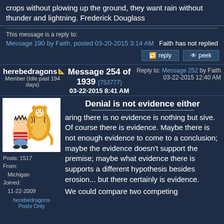crops without plowing up the ground, they want rain without thunder and lightning. Frederick Douglass
This message is a reply to:
Message 190 by Faith, posted 03-20-2015 3:14 AM
Faith has not replied
[Figure (screenshot): Reply and peek action buttons]
herebedragons Message 254 of 1939 (753777) 03-22-2015 8:41 AM Reply to: Message 252 by Faith 03-22-2015 12:40 AM Member (Idle past 194 days)
[Figure (illustration): Calvin and Hobbes cartoon avatar]
Posts: 1517 From: Michigan Joined: 11-22-2009
herebedragons Posts Only
Denial is not evidence either
aring there is no evidence is nothing but sive. Of course there is evidence. Maybe there is not enough evidence to come to a conclusion; maybe the evidence doesn't support the premise; maybe what evidence there is supports a different hypothesis besides erosion... but there certainly is evidence.
We could compare two competing